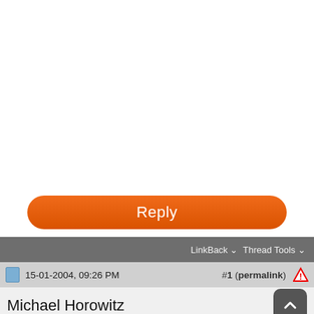[Figure (screenshot): White empty area at top of page]
[Figure (screenshot): Orange Reply button]
LinkBack  Thread Tools
15-01-2004, 09:26 PM   #1 (permalink)
Michael Horowitz
I'm about to try out a marmalade recipe which calls for 4 grapefruit
and 2 lemons. I'd like to cut the recipe in half, but there is a